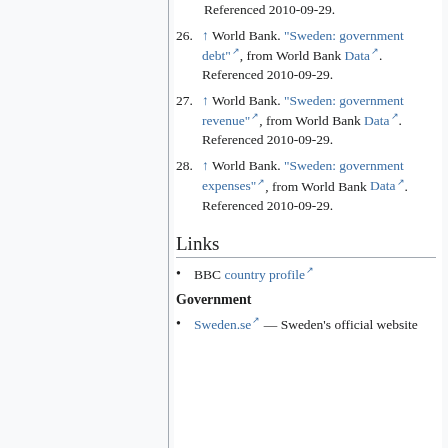Referenced 2010-09-29.
26. ↑ World Bank. "Sweden: government debt", from World Bank Data. Referenced 2010-09-29.
27. ↑ World Bank. "Sweden: government revenue", from World Bank Data. Referenced 2010-09-29.
28. ↑ World Bank. "Sweden: government expenses", from World Bank Data. Referenced 2010-09-29.
Links
BBC country profile
Government
Sweden.se — Sweden's official website